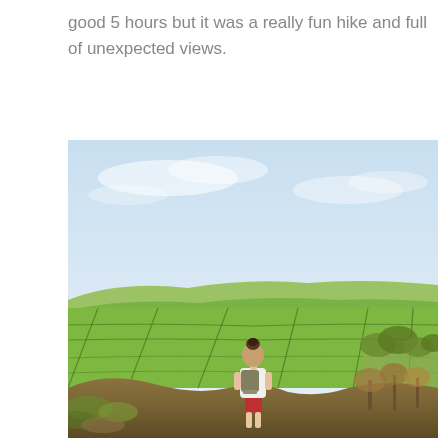good 5 hours but it was a really fun hike and full of unexpected views.
[Figure (photo): A hiker (woman with backpack and red shorts, white shirt) standing at the edge of a hillside viewpoint, looking out over a vast patchwork of green fields divided by hedgerows and stone walls under a pale blue sky with light clouds.]